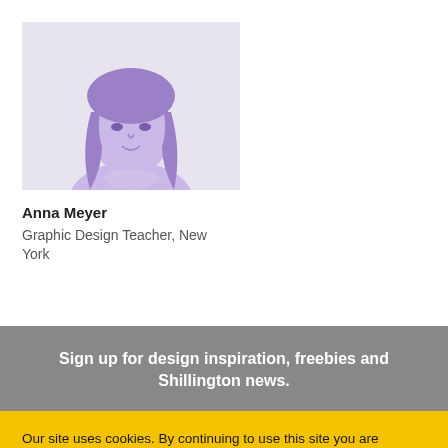[Figure (photo): Purple-tinted portrait photo of Anna Meyer, a young woman with long dark hair, shown against a light gray background.]
Anna Meyer
Graphic Design Teacher, New York
Sign up for design inspiration, freebies and Shillington news.
Our site uses cookies. By continuing to use this site you are agreeing to our cookies policy.
Accept and close